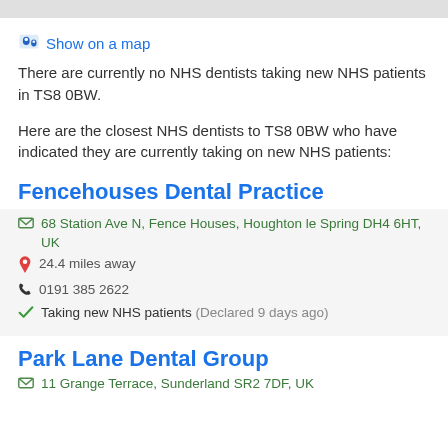[Figure (screenshot): Top grey bar from map/navigation UI]
Show on a map
There are currently no NHS dentists taking new NHS patients in TS8 0BW.
Here are the closest NHS dentists to TS8 0BW who have indicated they are currently taking on new NHS patients:
Fencehouses Dental Practice
68 Station Ave N, Fence Houses, Houghton le Spring DH4 6HT, UK
24.4 miles away
0191 385 2622
Taking new NHS patients (Declared 9 days ago)
Park Lane Dental Group
11 Grange Terrace, Sunderland SR2 7DF, UK